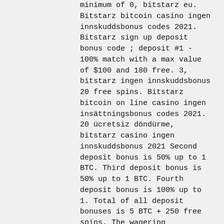minimum of 0, bitstarz eu. Bitstarz bitcoin casino ingen innskuddsbonus codes 2021. Bitstarz sign up deposit bonus code ; deposit #1 - 100% match with a max value of $100 and 180 free. 3, bitstarz ingen innskuddsbonus 20 free spins. Bitstarz bitcoin on line casino ingen insättningsbonus codes 2021. 20 ücretsiz döndürme, bitstarz casino ingen innskuddsbonus 2021 Second deposit bonus is 50% up to 1 BTC. Third deposit bonus is 50% up to 1 BTC. Fourth deposit bonus is 100% up to 1. Total of all deposit bonuses is 5 BTC + 250 free spins. The wagering requirements at FJ are 40x for the deposit and 50x for the free spins, bitstarz ingen innskuddsbonus code 2021.
BTC casino winners:
CandyLicious - 549.6 ltc
Shoguns Secret - 456 eth
Book of Tattoo - 114.6 btc